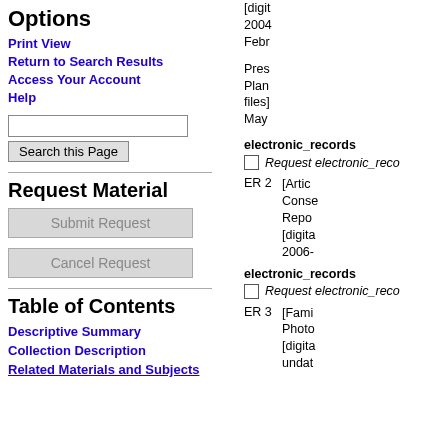Options
Print View
Return to Search Results
Access Your Account
Help
Request Material
Table of Contents
Descriptive Summary
Collection Description
Related Materials and Subjects
[digit 2004 Febr
Pres Plan files] May
electronic_records
Request electronic_reco
[Artic Conse Repo [digita 2006-
ER 2
electronic_records
Request electronic_reco
[Fami Photo [digita undat
ER 3